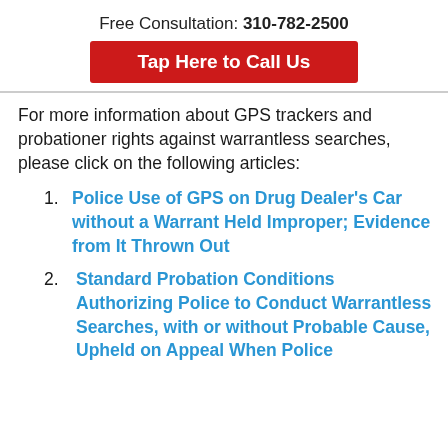Free Consultation: 310-782-2500
Tap Here to Call Us
For more information about GPS trackers and probationer rights against warrantless searches, please click on the following articles:
Police Use of GPS on Drug Dealer's Car without a Warrant Held Improper; Evidence from It Thrown Out
Standard Probation Conditions Authorizing Police to Conduct Warrantless Searches, with or without Probable Cause, Upheld on Appeal When Police